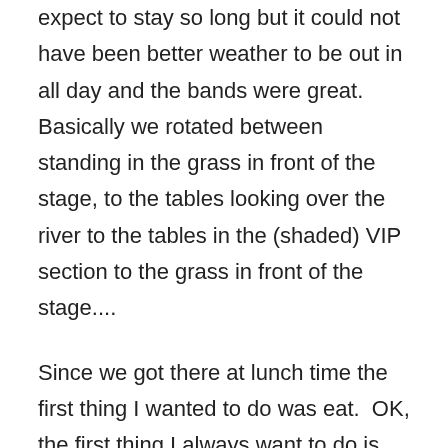expect to stay so long but it could not have been better weather to be out in all day and the bands were great.  Basically we rotated between standing in the grass in front of the stage, to the tables looking over the river to the tables in the (shaded) VIP section to the grass in front of the stage....
Since we got there at lunch time the first thing I wanted to do was eat.  OK, the first thing I always want to do is eat, but whatever.  There were quite a lot of really great food trucks and vendors but I ended up getting the WokStar Rainbow Noodles at I Wanna Wok . Excellent choice!  the people who took our order and made the food were super nice and any time I get to eat with chop sticks I'm pretty